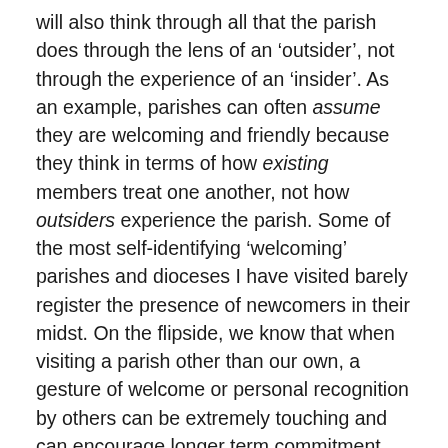will also think through all that the parish does through the lens of an ‘outsider’, not through the experience of an ‘insider’. As an example, parishes can often assume they are welcoming and friendly because they think in terms of how existing members treat one another, not how outsiders experience the parish. Some of the most self-identifying ‘welcoming’ parishes and dioceses I have visited barely register the presence of newcomers in their midst. On the flipside, we know that when visiting a parish other than our own, a gesture of welcome or personal recognition by others can be extremely touching and can encourage longer term commitment.
‘Insider’ thinking can also be reflected in a lack of signage in many of our parishes. It is not only the local delivery man who can find it difficult to find the parish office but first